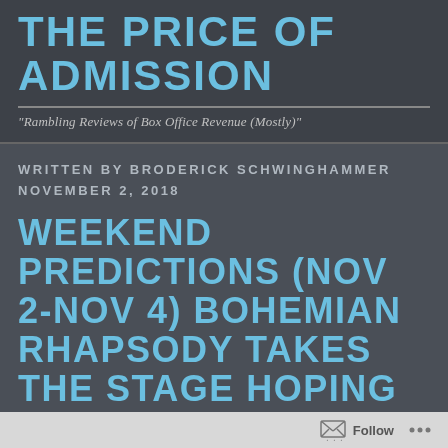THE PRICE OF ADMISSION
"Rambling Reviews of Box Office Revenue (Mostly)"
WRITTEN BY BRODERICK SCHWINGHAMMER
NOVEMBER 2, 2018
WEEKEND PREDICTIONS (NOV 2-NOV 4) BOHEMIAN RHAPSODY TAKES THE STAGE HOPING TO WIN THE
Follow